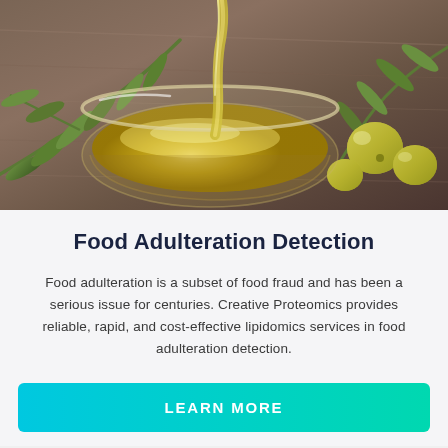[Figure (photo): Olive oil being poured into a glass bowl surrounded by olive branches and olives on a wooden surface]
Food Adulteration Detection
Food adulteration is a subset of food fraud and has been a serious issue for centuries. Creative Proteomics provides reliable, rapid, and cost-effective lipidomics services in food adulteration detection.
LEARN MORE